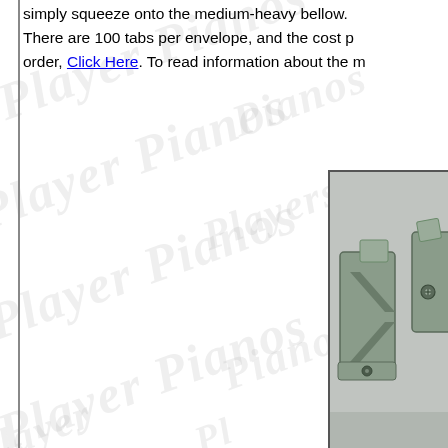simply squeeze onto the medium-heavy bellow. There are 100 tabs per envelope, and the cost p... order, Click Here. To read information about the m...
[Figure (photo): Close-up photograph of two metal spring clips/tabs on a light gray background. The clips appear to be bent metal pieces used for attaching to player piano bellows.]
[Figure (photo): Close-up photograph of a metal grommet or eyelet on red felt/fabric material, with a metal tool or hardware piece visible.]